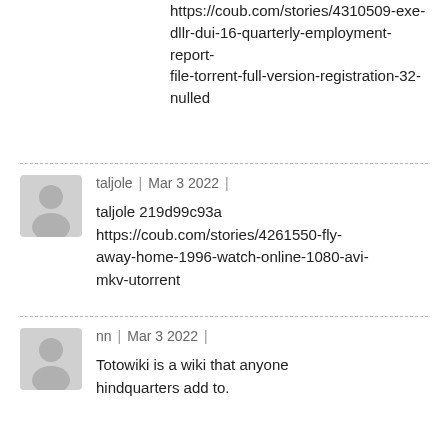https://coub.com/stories/4310509-exe-dllr-dui-16-quarterly-employment-report-file-torrent-full-version-registration-32-nulled
taljole | Mar 3 2022 |
taljole 219d99c93a https://coub.com/stories/4261550-fly-away-home-1996-watch-online-1080-avi-mkv-utorrent
nn | Mar 3 2022 |
Totowiki is a wiki that anyone hindquarters add to.